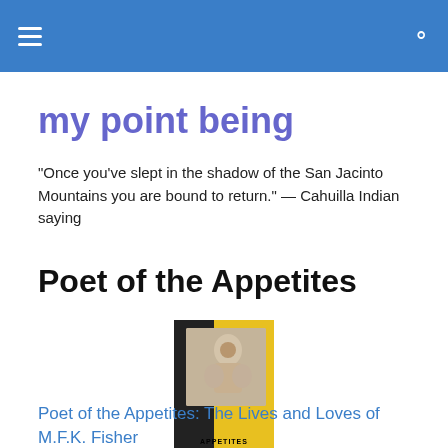my point being — navigation header
my point being
"Once you've slept in the shadow of the San Jacinto Mountains you are bound to return." — Cahuilla Indian saying
Poet of the Appetites
[Figure (photo): Book cover of 'Poet of the Appetites' by M.F.K. Fisher — yellow and black cover with a figure of a woman's back]
Poet of the Appetites: The Lives and Loves of M.F.K. Fisher